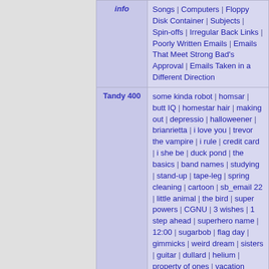|  | Info |
| --- | --- |
| (info) | Songs | Computers | Floppy Disk Container | Subjects | Spin-offs | Irregular Back Links | Poorly Written Emails | Emails That Meet Strong Bad's Approval | Emails Taken in a Different Direction |
| Tandy 400 | some kinda robot | homsar | butt IQ | homestar hair | making out | depressio | halloweener | brianrietta | i love you | trevor the vampire | i rule | credit card | i she be | duck pond | the basics | band names | studying | stand-up | tape-leg | spring cleaning | cartoon | sb_email 22 | little animal | the bird | super powers | CGNU | 3 wishes | 1 step ahead | superhero name | 12:00 | sugarbob | flag day | gimmicks | weird dream | sisters | guitar | dullard | helium | property of ones | vacation |
|  | invisibility | action figure | little questions | lures & jigs | techno | your friends | new hands | ghosts | theme party | 50 emails | website | island | comic | morning routine | cheat talk | current status | japanese cartoon | dragon | marzipan | huttah! | monster truck | interview | fingers | english paper | |